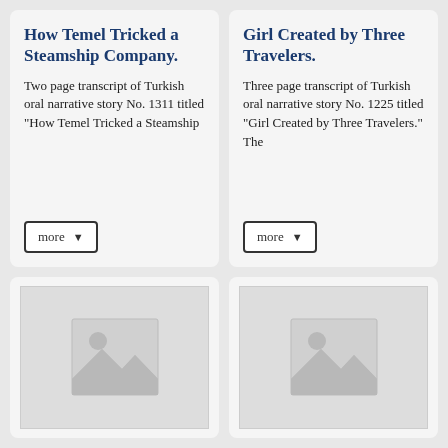How Temel Tricked a Steamship Company.
Two page transcript of Turkish oral narrative story No. 1311 titled "How Temel Tricked a Steamship
Girl Created by Three Travelers.
Three page transcript of Turkish oral narrative story No. 1225 titled "Girl Created by Three Travelers." The
[Figure (illustration): Image placeholder with mountain and sun icon in grey]
[Figure (illustration): Image placeholder with mountain and sun icon in grey]